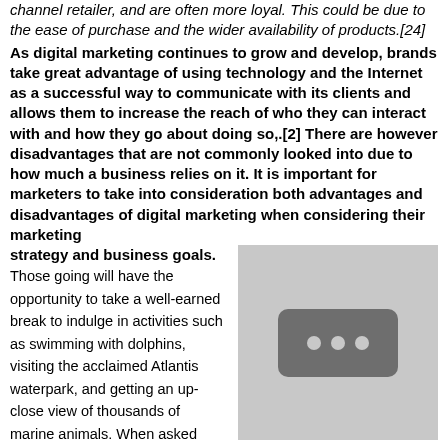channel retailer, and are often more loyal. This could be due to the ease of purchase and the wider availability of products.[24]
As digital marketing continues to grow and develop, brands take great advantage of using technology and the Internet as a successful way to communicate with its clients and allows them to increase the reach of who they can interact with and how they go about doing so,.[2] There are however disadvantages that are not commonly looked into due to how much a business relies on it. It is important for marketers to take into consideration both advantages and disadvantages of digital marketing when considering their marketing strategy and business goals.
[Figure (other): A placeholder image showing a grey rectangle with a dark grey rounded rectangle containing three white dots in the center.]
Those going will have the opportunity to take a well-earned break to indulge in activities such as swimming with dolphins, visiting the acclaimed Atlantis waterpark, and getting an up-close view of thousands of marine animals. When asked about why Emineo Marketing Solutions would pay for employees to go on an international vacation, Rodriguez asserted that "We work hard; we play hard. It's definitely a rewarding